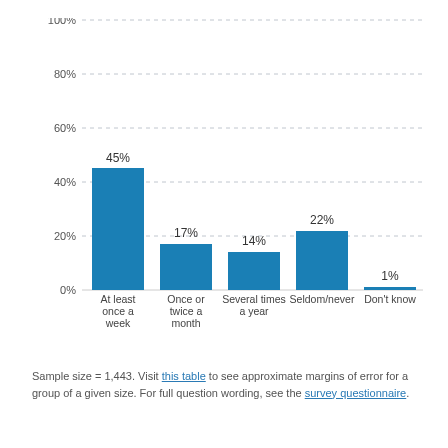[Figure (bar-chart): ]
Sample size = 1,443. Visit this table to see approximate margins of error for a group of a given size. For full question wording, see the survey questionnaire.